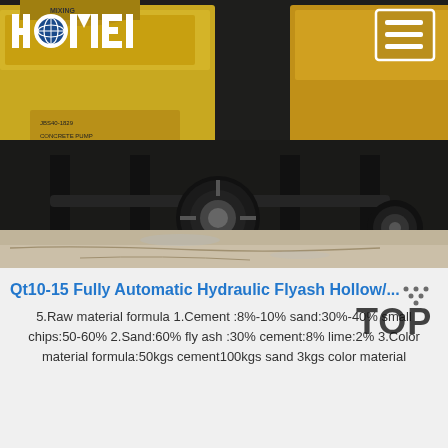[Figure (photo): Haomei concrete pump machine on a concrete ground, yellow machinery with dark frame and large wheels. Haomei logo visible at top left, hamburger menu icon at top right.]
Qt10-15 Fully Automatic Hydraulic Flyash Hollow/...
5.Raw material formula 1.Cement :8%-10% sand:30%-40% small chips:50-60% 2.Sand:60% fly ash :30% cement:8% lime:2% 3.Color material formula:50kgs cement100kgs sand 3kgs color material